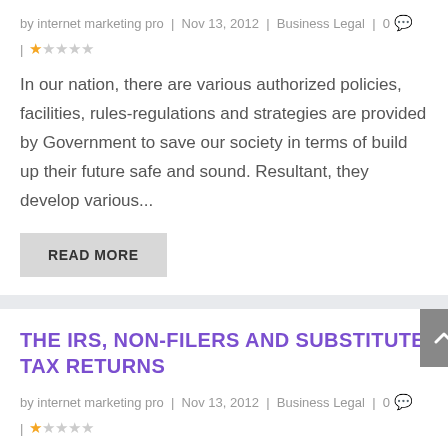by internet marketing pro | Nov 13, 2012 | Business Legal | 0 | ★☆☆☆☆
In our nation, there are various authorized policies, facilities, rules-regulations and strategies are provided by Government to save our society in terms of build up their future safe and sound. Resultant, they develop various...
READ MORE
THE IRS, NON-FILERS AND SUBSTITUTE TAX RETURNS
by internet marketing pro | Nov 13, 2012 | Business Legal | 0 | ★☆☆☆☆
The IRS computer works 24/7 seeking out individuals who have not filed previous year tax returns.  The computer matches W2s and 1099 income information...